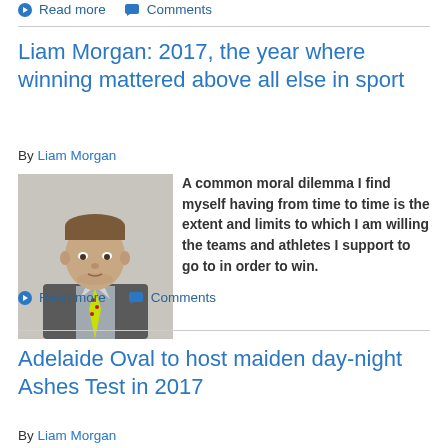Read more  Comments
Liam Morgan: 2017, the year where winning mattered above all else in sport
By Liam Morgan
[Figure (photo): Headshot photo of Liam Morgan, a young man in a grey suit with a yellow/lime green tie]
A common moral dilemma I find myself having from time to time is the extent and limits to which I am willing the teams and athletes I support to go to in order to win.
Read more  Comments
Adelaide Oval to host maiden day-night Ashes Test in 2017
By Liam Morgan